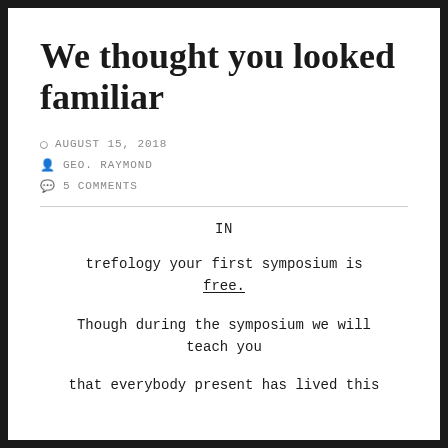We thought you looked familiar
AUGUST 15, 2018
GEO. RAYMOND
5 COMMENTS
IN
trefology your first symposium is free.
Though during the symposium we will teach you
that everybody present has lived this